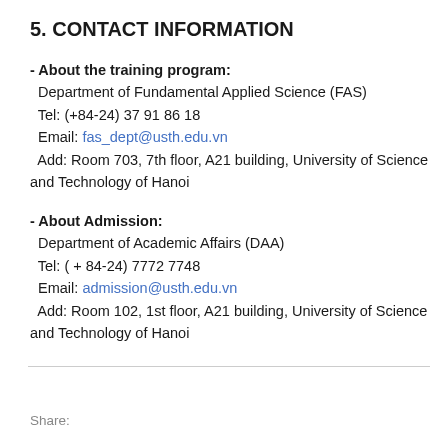5. CONTACT INFORMATION
- About the training program:
  Department of Fundamental Applied Science (FAS)
  Tel: (+84-24) 37 91 86 18
  Email: fas_dept@usth.edu.vn
  Add: Room 703, 7th floor, A21 building, University of Science and Technology of Hanoi
- About Admission:
  Department of Academic Affairs (DAA)
  Tel: ( + 84-24) 7772 7748
  Email: admission@usth.edu.vn
  Add: Room 102, 1st floor, A21 building, University of Science and Technology of Hanoi
Share: